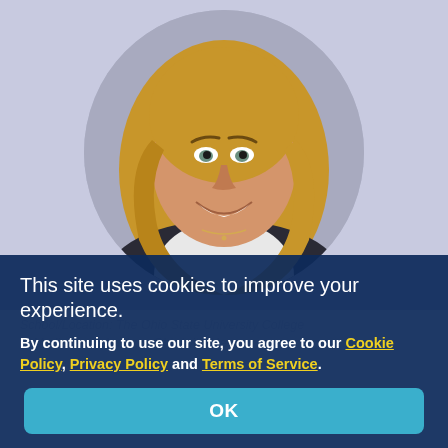[Figure (photo): Circular headshot of a young woman with long blonde hair, smiling, wearing a white top with a light necklace, on a gray background]
This site uses cookies to improve your experience.
By continuing to use our site, you agree to our Cookie Policy, Privacy Policy and Terms of Service.
OK